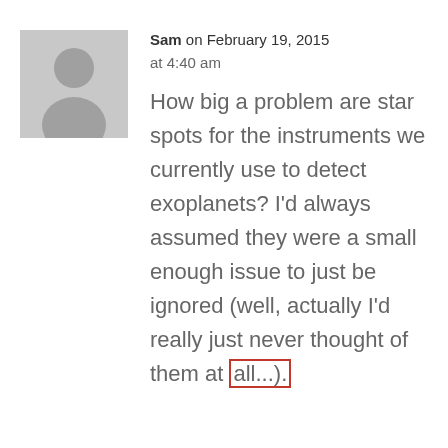[Figure (illustration): Gray placeholder avatar silhouette of a person on a light gray background]
Sam on February 19, 2015 at 4:40 am
How big a problem are star spots for the instruments we currently use to detect exoplanets? I'd always assumed they were a small enough issue to just be ignored (well, actually I'd really just never thought of them at all...).